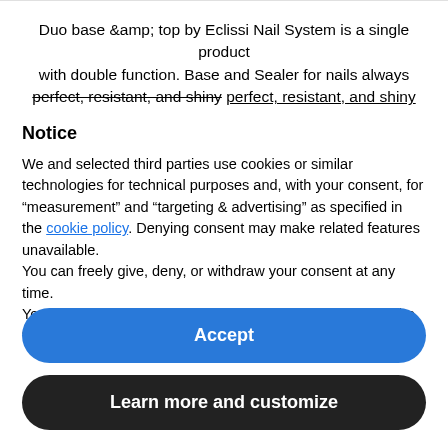Duo base &amp; top by Eclissi Nail System is a single product with double function. Base and Sealer for nails always perfect, resistant, and shiny
Notice
We and selected third parties use cookies or similar technologies for technical purposes and, with your consent, for “measurement” and “targeting & advertising” as specified in the cookie policy. Denying consent may make related features unavailable.
You can freely give, deny, or withdraw your consent at any time.
You can consent to the use of such technologies by using the “Accept” button.
Accept
Learn more and customize